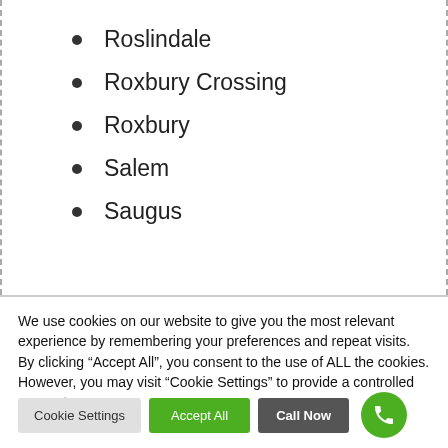Roslindale
Roxbury Crossing
Roxbury
Salem
Saugus
We use cookies on our website to give you the most relevant experience by remembering your preferences and repeat visits. By clicking “Accept All”, you consent to the use of ALL the cookies. However, you may visit “Cookie Settings” to provide a controlled consent.